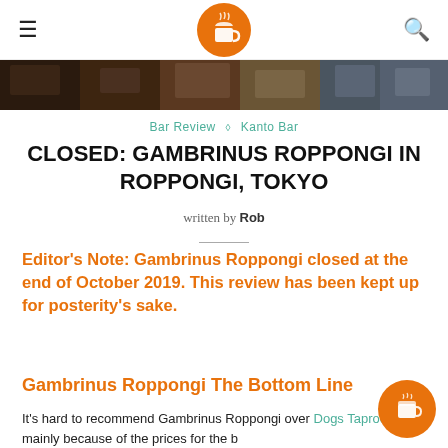≡  [logo]  🔍
[Figure (photo): Horizontal photo strip showing interior/scene of Gambrinus Roppongi bar]
Bar Review ◇ Kanto Bar
CLOSED: GAMBRINUS ROPPONGI IN ROPPONGI, TOKYO
written by Rob
Editor's Note: Gambrinus Roppongi closed at the end of October 2019. This review has been kept up for posterity's sake.
Gambrinus Roppongi The Bottom Line
It's hard to recommend Gambrinus Roppongi over Dogs Taproom mainly because of the prices for the b... (text continues)